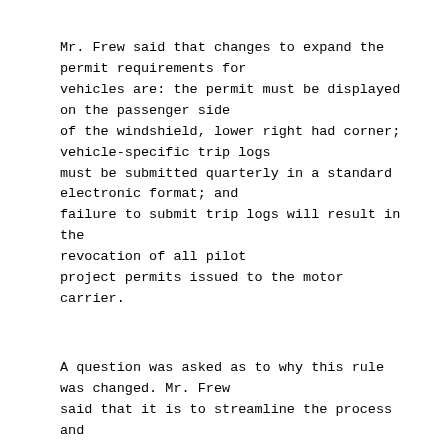Mr. Frew said that changes to expand the permit requirements for vehicles are: the permit must be displayed on the passenger side of the windshield, lower right had corner; vehicle-specific trip logs must be submitted quarterly in a standard electronic format; and failure to submit trip logs will result in the revocation of all pilot project permits issued to the motor carrier.
A question was asked as to why this rule was changed. Mr. Frew said that it is to streamline the process and